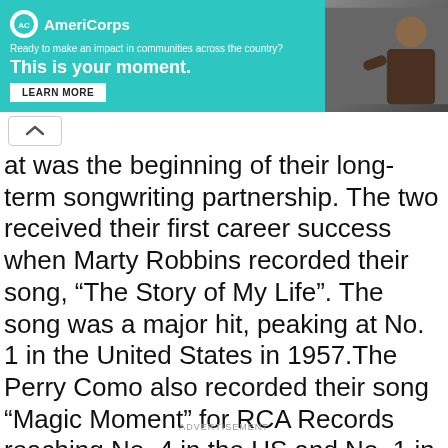[Figure (other): AmeriCorps advertisement banner with teal background, logo, tagline 'Ready to make an impact in communities across the country?', headline 'This is your moment.', LEARN MORE button, and photo of a person on the right.]
at was the beginning of their long-term songwriting partnership. The two received their first career success when Marty Robbins recorded their song, “The Story of My Life”. The song was a major hit, peaking at No. 1 in the United States in 1957.The Perry Como also recorded their song “Magic Moment” for RCA Records reaching No. 4 in the US and No. 1 in the UK. Bacharach directed the recording of his song “Make it Easy on Yourself” recorded by singer Jerry Butler, making it the first time he managed the recording process of his song.
ADVERTISEMENT